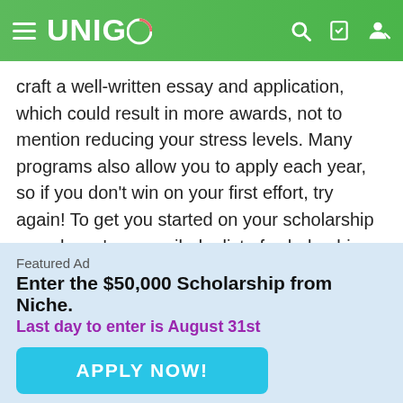UNIGO
craft a well-written essay and application, which could result in more awards, not to mention reducing your stress levels. Many programs also allow you to apply each year, so if you don't win on your first effort, try again! To get you started on your scholarship search, we've compiled a list of scholarships just for teens.
1. VOICE OF DEMOCRACY SCHOLARSHIP PROGRAM
Featured Ad
Enter the $50,000 Scholarship from Niche.
Last day to enter is August 31st
APPLY NOW!